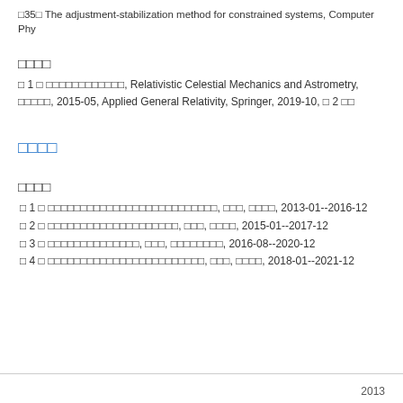□35□ The adjustment-stabilization method for constrained systems, Computer Phy
□□□□
□ 1 □ □□□□□□□□□□□□, Relativistic Celestial Mechanics and Astrometry, □□□□□, 2015-05, Applied General Relativity, Springer, 2019-10, □ 2 □□
□□□□
□□□□
□ 1 □ □□□□□□□□□□□□□□□□□□□□□□□□□□, □□□, □□□□, 2013-01--2016-12
□ 2 □ □□□□□□□□□□□□□□□□□□□□, □□□, □□□□, 2015-01--2017-12
□ 3 □ □□□□□□□□□□□□□□, □□□, □□□□□□□□, 2016-08--2020-12
□ 4 □ □□□□□□□□□□□□□□□□□□□□□□□□, □□□, □□□□, 2018-01--2021-12
2013